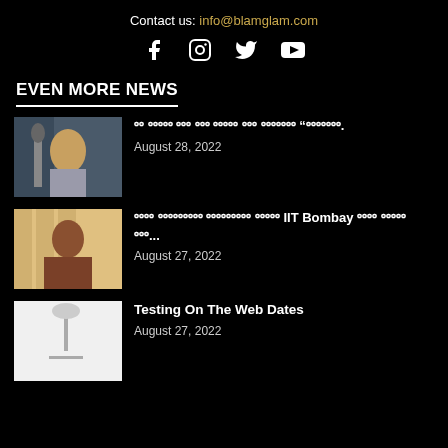Contact us: info@blamglam.com
[Figure (infographic): Social media icons: Facebook, Instagram, Twitter, YouTube]
EVEN MORE NEWS
[Figure (photo): Woman singing at a microphone in a recording studio]
ᴏᴏ ᴏᴏᴏᴏᴏ ᴏᴏᴏ ᴏᴏᴏ ᴏᴏᴏᴏᴏ ᴏᴏᴏ ᴏᴏᴏᴏᴏᴏᴏ “ᴏᴏᴏᴏᴏᴏᴏ.
August 28, 2022
[Figure (photo): Young woman with long dark hair against a striped background]
ᴏᴏᴏᴏ ᴏᴏᴏᴏᴏᴏᴏᴏᴏ ᴏᴏᴏᴏᴏᴏᴏᴏᴏ ᴏᴏᴏᴏᴏ IIT Bombay ᴏᴏᴏᴏ ᴏᴏᴏᴏᴏ ᴏᴏᴏ...
August 27, 2022
[Figure (photo): Light-colored image with a simple graphic]
Testing On The Web Dates
August 27, 2022